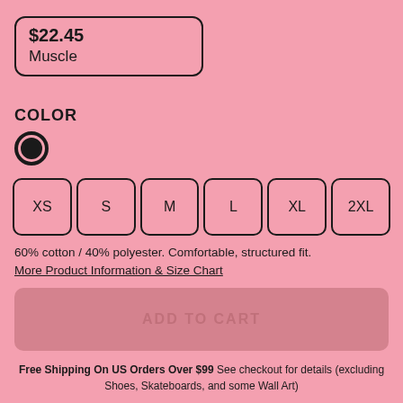$22.45 Muscle
COLOR
XS S M L XL 2XL
60% cotton / 40% polyester. Comfortable, structured fit. More Product Information & Size Chart
ADD TO CART
Free Shipping On US Orders Over $99 See checkout for details (excluding Shoes, Skateboards, and some Wall Art)